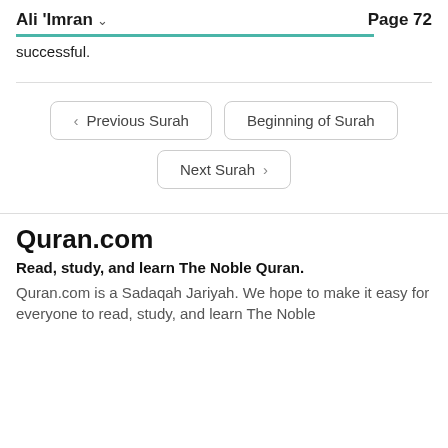Ali 'Imran  ∨   Page 72
successful.
< Previous Surah   Beginning of Surah   Next Surah >
Quran.com
Read, study, and learn The Noble Quran.
Quran.com is a Sadaqah Jariyah. We hope to make it easy for everyone to read, study, and learn The Noble